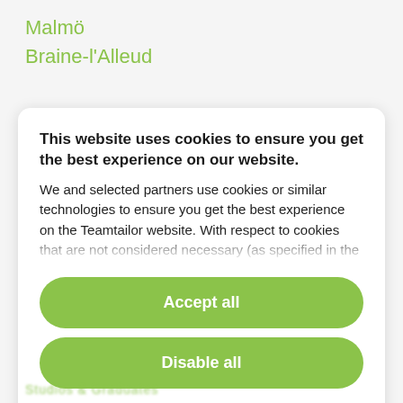Malmö
Braine-l'Alleud
This website uses cookies to ensure you get the best experience on our website.
We and selected partners use cookies or similar technologies to ensure you get the best experience on the Teamtailor website. With respect to cookies that are not considered necessary (as specified in the
Accept all
Disable all
Cookie preferences